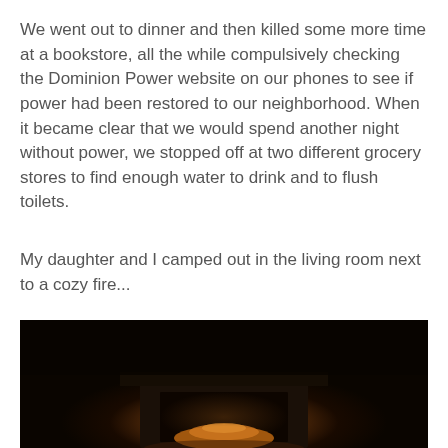We went out to dinner and then killed some more time at a bookstore, all the while compulsively checking the Dominion Power website on our phones to see if power had been restored to our neighborhood. When it became clear that we would spend another night without power, we stopped off at two different grocery stores to find enough water to drink and to flush toilets.
My daughter and I camped out in the living room next to a cozy fire...
[Figure (photo): Dark photograph of a living room with a fireplace glowing orange/amber in the lower center, surrounded by near-total darkness.]